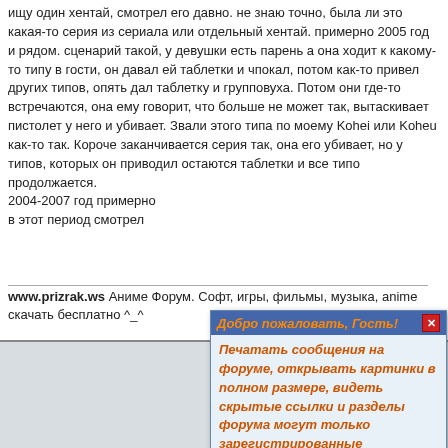ищу один хентай, смотрел его давно. не знаю точно, была ли это какая-то серия из сериала или отдельный хентай. примерно 2005 год и рядом. сценарий такой, у девушки есть парень а она ходит к какому-то типу в гости, он давал ей таблетки и чпокал, потом как-то привел других типов, опять дал таблетку и групповуха. Потом они где-то встречаются, она ему говорит, что больше не может так, вытаскивает пистолет у него и убивает. Звали этого типа по моему Kohei или Koheu как-то так. Короче заканчивается серия так, она его убивает, но у типов, которых он приводил остаются таблетки и все типо продолжается.
2004-2007 год примерно
в этот период смотрел
www.prizrak.ws Аниме Форум. Софт, игры, фильмы, музыка, anime скачать бесплатно ^_^
2022-08-12 11:31:09^.^вверх^.^
Richardovow
Блуждающая душа (честь)
I'm not sure where you're getting your information, but good topic. I needs to spend some time learning much more or understanding more.
Thanks for fantastic info I was looking for this information for my mission.
[Figure (screenshot): Popup overlay with orange italic bold text on light blue background: 'Добро пожаловать, Гость!' as title, then 'Печатать сообщения на форуме, открывать картинки в полном размере, видеть скрытые ссылки и разделы форума могут только зарегистрированные пользователи!' with blue title bar and red X close button.]